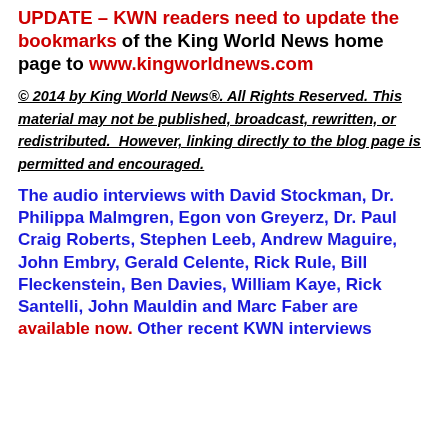UPDATE – KWN readers need to update the bookmarks of the King World News home page to www.kingworldnews.com
© 2014 by King World News®. All Rights Reserved. This material may not be published, broadcast, rewritten, or redistributed.  However, linking directly to the blog page is permitted and encouraged.
The audio interviews with David Stockman, Dr. Philippa Malmgren, Egon von Greyerz, Dr. Paul Craig Roberts, Stephen Leeb, Andrew Maguire, John Embry, Gerald Celente, Rick Rule, Bill Fleckenstein, Ben Davies, William Kaye, Rick Santelli, John Mauldin and Marc Faber are available now. Other recent KWN interviews